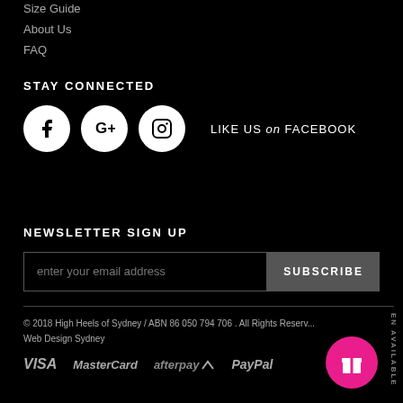Size Guide
About Us
FAQ
STAY CONNECTED
[Figure (illustration): Three social media icons (Facebook, Google+, Instagram) as white circles on black background, followed by text LIKE US on FACEBOOK]
NEWSLETTER SIGN UP
[Figure (screenshot): Email input box with placeholder text 'enter your email address' and a SUBSCRIBE button]
© 2018 High Heels of Sydney / ABN 86 050 794 706 . All Rights Reserved Web Design Sydney
[Figure (logo): Payment logos: VISA, MasterCard, afterpay, PayPal]